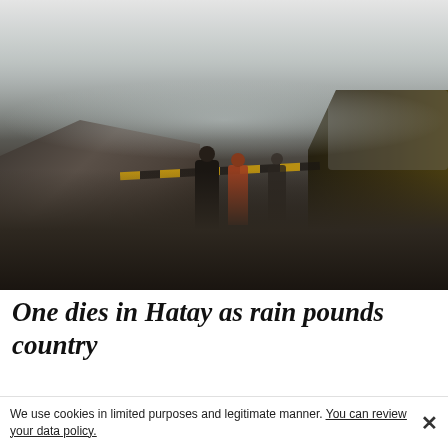[Figure (photo): A misty, foggy scene showing people standing near collapsed rubble on a wet road, with a large yellow excavator/backhoe on the right side. The scene suggests a landslide or structural collapse in rainy weather.]
One dies in Hatay as rain pounds country
We use cookies in limited purposes and legitimate manner. You can review your data policy.